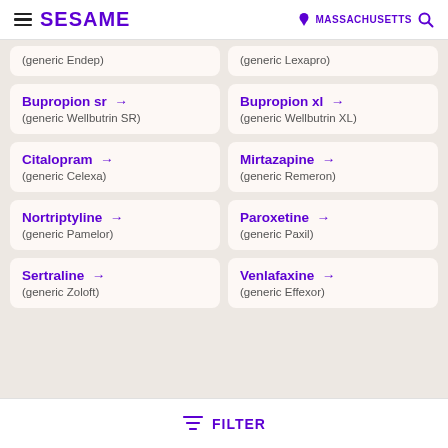SESAME | MASSACHUSETTS
(generic Endep)
(generic Lexapro)
Bupropion sr → (generic Wellbutrin SR)
Bupropion xl → (generic Wellbutrin XL)
Citalopram → (generic Celexa)
Mirtazapine → (generic Remeron)
Nortriptyline → (generic Pamelor)
Paroxetine → (generic Paxil)
Sertraline → (generic Zoloft)
Venlafaxine → (generic Effexor)
FILTER